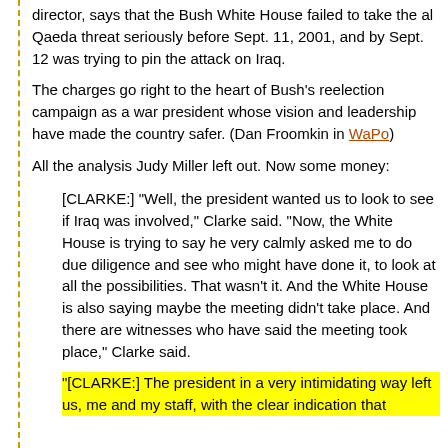director, says that the Bush White House failed to take the al Qaeda threat seriously before Sept. 11, 2001, and by Sept. 12 was trying to pin the attack on Iraq.
The charges go right to the heart of Bush's reelection campaign as a war president whose vision and leadership have made the country safer. (Dan Froomkin in WaPo)
All the analysis Judy Miller left out. Now some money:
[CLARKE:] "Well, the president wanted us to look to see if Iraq was involved," Clarke said. "Now, the White House is trying to say he very calmly asked me to do due diligence and see who might have done it, to look at all the possibilities. That wasn't it. And the White House is also saying maybe the meeting didn't take place. And there are witnesses who have said the meeting took place," Clarke said.
"[CLARKE:] The president in a very intimidating way left us, me and my staff, with the clear indication that